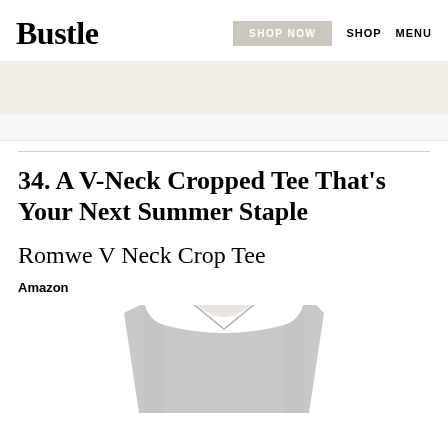Bustle | SHOP NOW | SHOP | MENU
34. A V-Neck Cropped Tee That's Your Next Summer Staple
Romwe V Neck Crop Tee
Amazon
[Figure (photo): Bottom portion of a light grey v-neck crop tee shirt on a model]